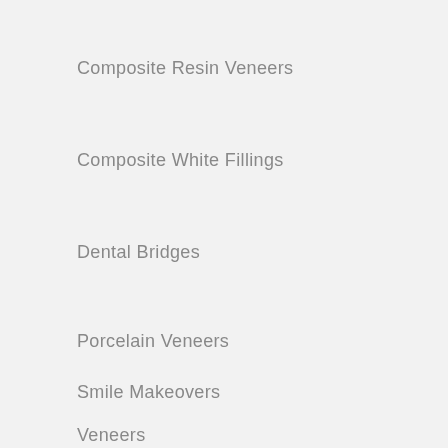Composite Resin Veneers
Composite White Fillings
Dental Bridges
Porcelain Veneers
Smile Makeovers
Veneers